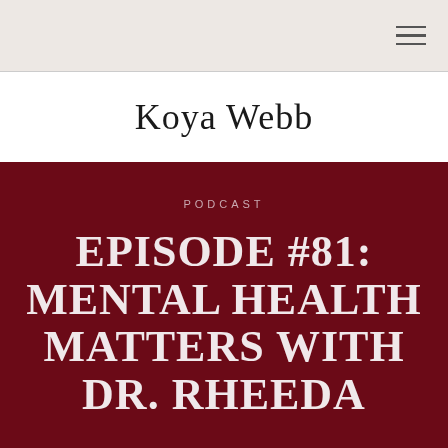Koya Webb
PODCAST
EPISODE #81: MENTAL HEALTH MATTERS WITH DR. RHEEDA